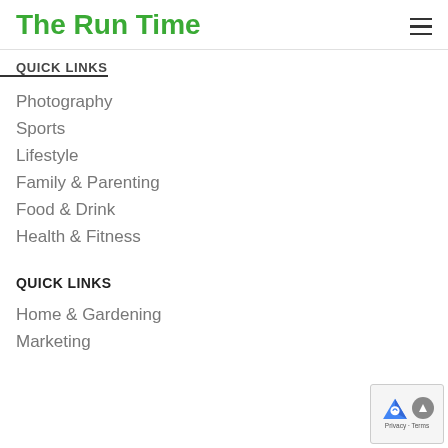The Run Time
QUICK LINKS
Photography
Sports
Lifestyle
Family & Parenting
Food & Drink
Health & Fitness
QUICK LINKS
Home & Gardening
Marketing